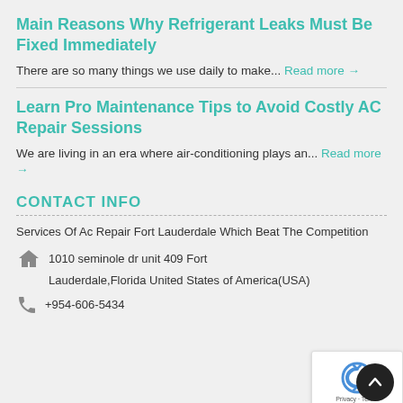Main Reasons Why Refrigerant Leaks Must Be Fixed Immediately
There are so many things we use daily to make... Read more →
Learn Pro Maintenance Tips to Avoid Costly AC Repair Sessions
We are living in an era where air-conditioning plays an... Read more →
CONTACT INFO
Services Of Ac Repair Fort Lauderdale Which Beat The Competition
1010 seminole dr unit 409 Fort
Lauderdale,Florida United States of America(USA)
+954-606-5434